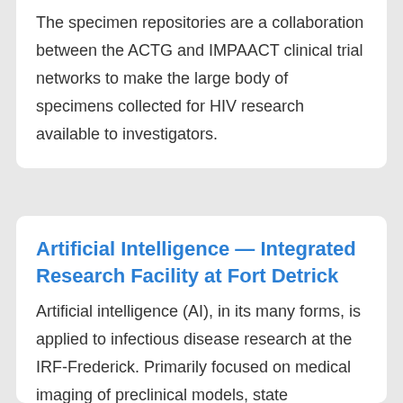The specimen repositories are a collaboration between the ACTG and IMPAACT clinical trial networks to make the large body of specimens collected for HIV research available to investigators.
Artificial Intelligence — Integrated Research Facility at Fort Detrick
Artificial intelligence (AI), in its many forms, is applied to infectious disease research at the IRF-Frederick. Primarily focused on medical imaging of preclinical models, state